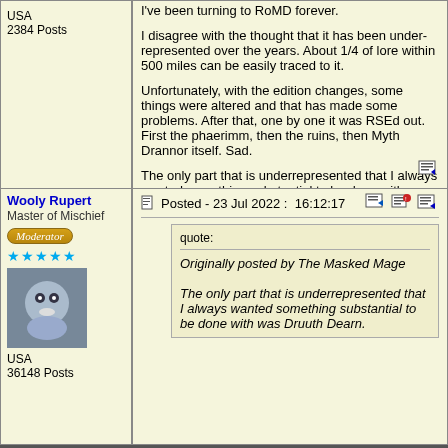USA
2384 Posts
I've been turning to RoMD forever.

I disagree with the thought that it has been under-represented over the years. About 1/4 of lore within 500 miles can be easily traced to it.

Unfortunately, with the edition changes, some things were altered and that has made some problems. After that, one by one it was RSEd out. First the phaerimm, then the ruins, then Myth Drannor itself. Sad.

The only part that is underrepresented that I always wanted something substantial to be done with was Druuth Dearn.
Wooly Rupert
Master of Mischief
Moderator
USA
36148 Posts
Posted - 23 Jul 2022 : 16:12:17
quote:
Originally posted by The Masked Mage
The only part that is underrepresented that I always wanted something substantial to be done with was Druuth Dearn.